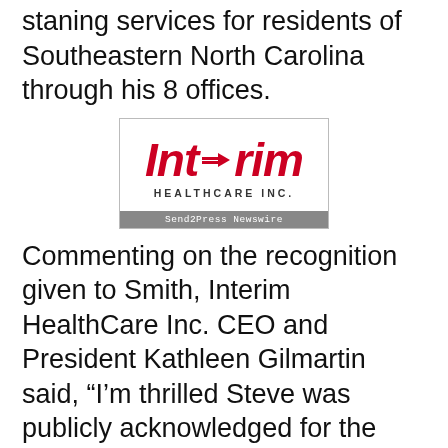staning services for residents of Southeastern North Carolina through his 8 offices.
[Figure (logo): Interim HealthCare Inc. logo with red stylized text and arrow, 'HEALTHCARE INC.' subtitle below, and 'Send2Press Newswire' caption bar at bottom]
Send2Press Newswire
Commenting on the recognition given to Smith, Interim HealthCare Inc. CEO and President Kathleen Gilmartin said, “I’m thrilled Steve was publicly acknowledged for the outstanding care he provides to his patients. His commitment and dedication to making sure patients and their families receive the